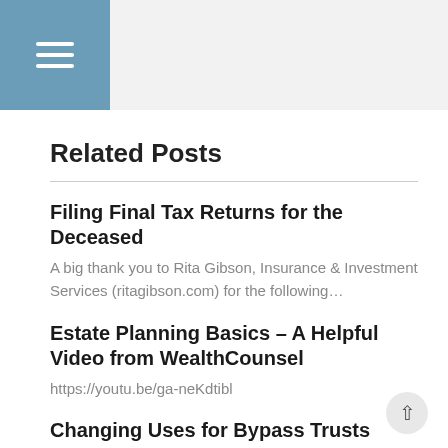Related Posts
Filing Final Tax Returns for the Deceased
A big thank you to Rita Gibson, Insurance & Investment Services (ritagibson.com) for the following…
Estate Planning Basics – A Helpful Video from WealthCounsel
https://youtu.be/ga-neKdtibl
Changing Uses for Bypass Trusts
Every year, each individual who dies in the U.S. can leave a certain amount of…